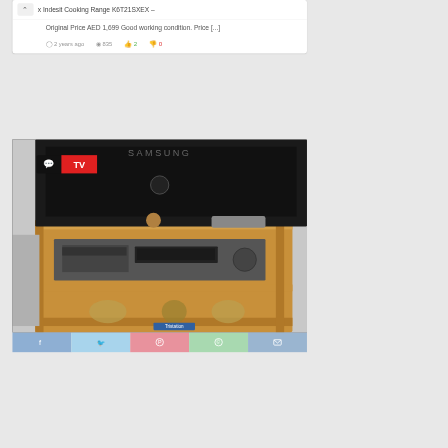x Indesit Cooking Range K6T21SXEX – Original Price AED 1,699 Good working condition. Price [...]
2 years ago   835   2   0
[Figure (photo): Photo of a Samsung TV on a wooden entertainment unit with a VCR/DVD player. A red TV badge label is visible in the top-left corner of the image.]
Samsung 26" LCD TV for Sale
written by psdutta